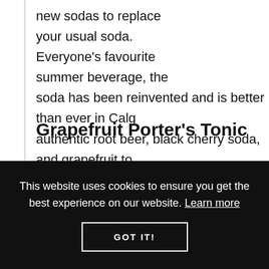new sodas to replace your usual soda. Everyone's favourite summer beverage, the soda has been reinvented and is better than ever in Calg… authentic root beer, black cherry soda, and grapefruit to… that fizzy flavour.
Grapefruit Porter's Tonic
This website uses cookies to ensure you get the best experience on our website. Learn more
GOT IT!